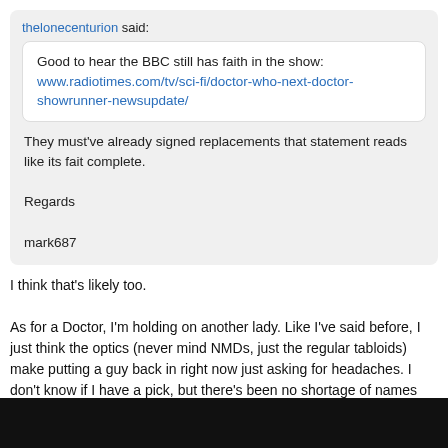thelonecenturion said:
Good to hear the BBC still has faith in the show: www.radiotimes.com/tv/sci-fi/doctor-who-next-doctor-showrunner-newsupdate/
They must've already signed replacements that statement reads like its fait complete.

Regards

mark687
I think that's likely too.
As for a Doctor, I'm holding on another lady. Like I've said before, I just think the optics (never mind NMDs, just the regular tabloids) make putting a guy back in right now just asking for headaches. I don't know if I have a pick, but there's been no shortage of names floated, like T'Nia Miller, Vicky McClure, Kelly MacDonald, Michaela Coel and some more.
« Prev  1  2  3  4  ..  82  Next »
Reply To Topic